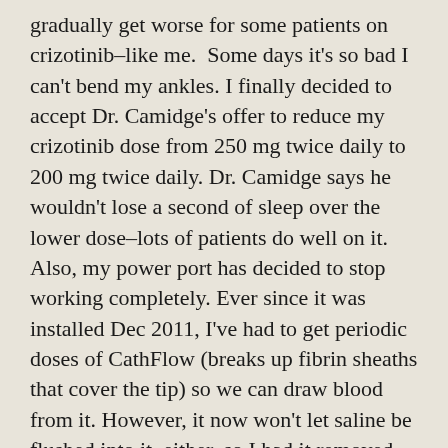gradually get worse for some patients on crizotinib–like me.  Some days it's so bad I can't bend my ankles. I finally decided to accept Dr. Camidge's offer to reduce my crizotinib dose from 250 mg twice daily to 200 mg twice daily. Dr. Camidge says he wouldn't lose a second of sleep over the lower dose–lots of patients do well on it. Also, my power port has decided to stop working completely. Ever since it was installed Dec 2011, I've had to get periodic doses of CathFlow (breaks up fibrin sheaths that cover the tip) so we can draw blood from it. However, it now won't let saline be flushed into it, either, so I had it removed.  This means more needle sticks for labs and scans, but less risk for blood clots forming around the fibrin. So long, power port–4.5 years was a good ride. My potassium level is low, probably from the crizotinib. My local onc says potassium supplements might help. I'll give them a try.